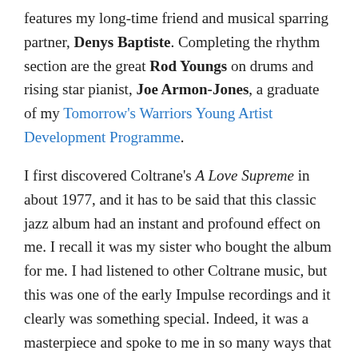features my long-time friend and musical sparring partner, Denys Baptiste. Completing the rhythm section are the great Rod Youngs on drums and rising star pianist, Joe Armon-Jones, a graduate of my Tomorrow's Warriors Young Artist Development Programme.
I first discovered Coltrane's A Love Supreme in about 1977, and it has to be said that this classic jazz album had an instant and profound effect on me. I recall it was my sister who bought the album for me. I had listened to other Coltrane music, but this was one of the early Impulse recordings and it clearly was something special. Indeed, it was a masterpiece and spoke to me in so many ways that other jazz works so far had not (perhaps with the exception of Mingus' Black Saint and The Sinner Lady). It was apparent to me that this was a